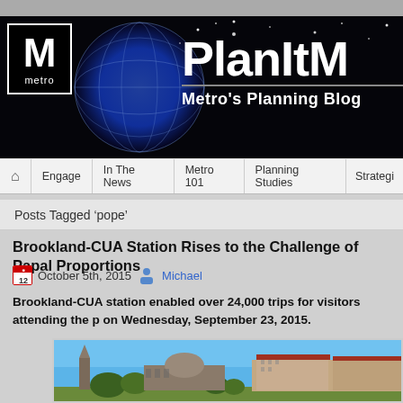[Figure (screenshot): PlanItMetro website header banner with Metro logo (M), globe graphic, and 'PlanItM' title with 'Metro's Planning Blog' subtitle on black background]
Engage | In The News | Metro 101 | Planning Studies | Strategic
Posts Tagged 'pope'
Brookland-CUA Station Rises to the Challenge of Papal Proportions
October 5th, 2015  Michael
Brookland-CUA station enabled over 24,000 trips for visitors attending the p on Wednesday, September 23, 2015.
[Figure (photo): Aerial/street-level photo of Brookland-CUA area with church steeple, dome, and university buildings under blue sky with trees]